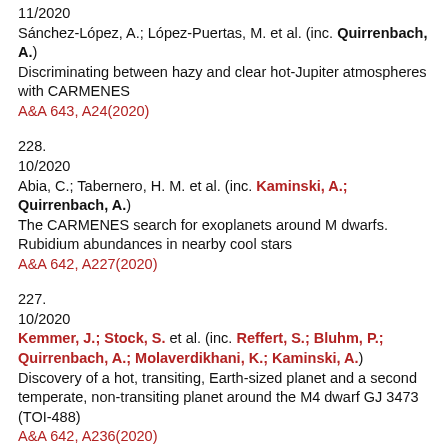11/2020
Sánchez-López, A.; López-Puertas, M. et al. (inc. Quirrenbach, A.)
Discriminating between hazy and clear hot-Jupiter atmospheres with CARMENES
A&A 643, A24(2020)
228.
10/2020
Abia, C.; Tabernero, H. M. et al. (inc. Kaminski, A.; Quirrenbach, A.)
The CARMENES search for exoplanets around M dwarfs. Rubidium abundances in nearby cool stars
A&A 642, A227(2020)
227.
10/2020
Kemmer, J.; Stock, S. et al. (inc. Reffert, S.; Bluhm, P.; Quirrenbach, A.; Molaverdikhani, K.; Kaminski, A.)
Discovery of a hot, transiting, Earth-sized planet and a second temperate, non-transiting planet around the M4 dwarf GJ 3473 (TOI-488)
A&A 642, A236(2020)
226.
10/2020
Nowak, G.; Luque, R. et al. (inc. Stock, S.; Reffert, S.; ...